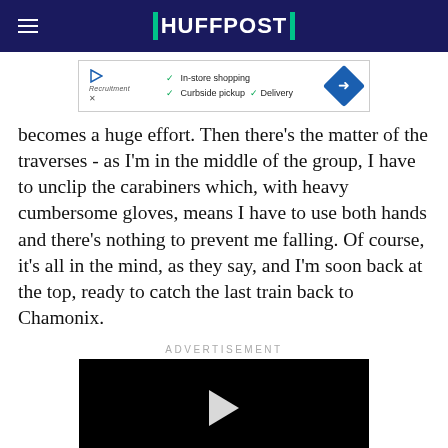HUFFPOST
[Figure (screenshot): Advertisement banner with play button, brand logo, checkmarks for In-store shopping, Curbside pickup, Delivery, and a blue diamond arrow icon.]
becomes a huge effort. Then there's the matter of the traverses - as I'm in the middle of the group, I have to unclip the carabiners which, with heavy cumbersome gloves, means I have to use both hands and there's nothing to prevent me falling. Of course, it's all in the mind, as they say, and I'm soon back at the top, ready to catch the last train back to Chamonix.
ADVERTISEMENT
[Figure (screenshot): Black video player with white play triangle in center.]